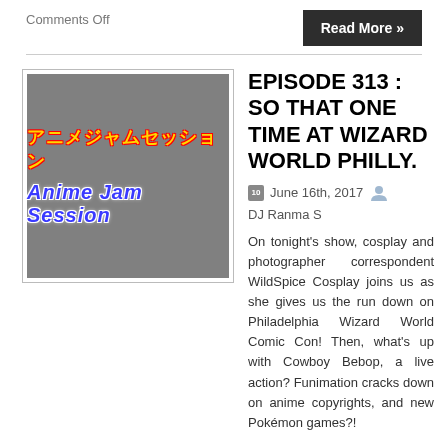Comments Off
Read More »
[Figure (logo): Anime Jam Session logo with Japanese text アニメジャムセッション in yellow with red outline and 'Anime Jam Session' in blue italic bold text, on a gray background]
EPISODE 313 : SO THAT ONE TIME AT WIZARD WORLD PHILLY.
June 16th, 2017  DJ Ranma S
On tonight's show, cosplay and photographer correspondent WildSpice Cosplay joins us as she gives us the run down on Philadelphia Wizard World Comic Con! Then, what's up with Cowboy Bebop, a live action? Funimation cracks down on anime copyrights, and new Pokémon games?!